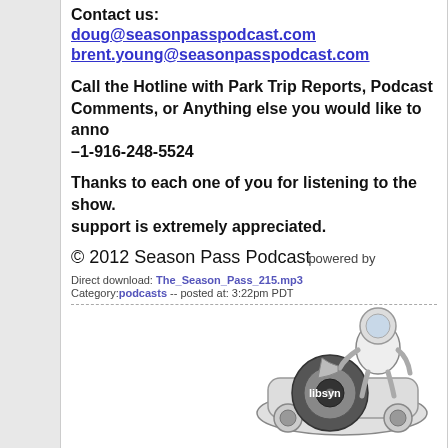Contact us:
doug@seasonpasspodcast.com
brent.young@seasonpasspodcast.com
Call the Hotline with Park Trip Reports, Podcast Comments, or Anything else you would like to announce –1-916-248-5524
Thanks to each one of you for listening to the show. Your support is extremely appreciated.
© 2012 Season Pass Podcast
Direct download: The_Season_Pass_215.mp3
Category: podcasts -- posted at: 3:22pm PDT
[Figure (logo): Powered by Libsyn logo — cartoon character riding a record player turntable machine]